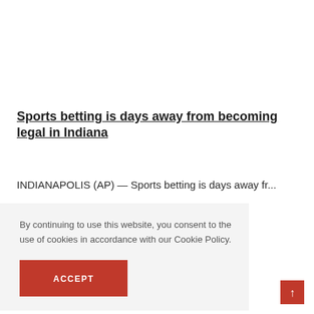Sports betting is days away from becoming legal in Indiana
INDIANAPOLIS (AP) — Sports betting is days away fr...
By continuing to use this website, you consent to the use of cookies in accordance with our Cookie Policy.